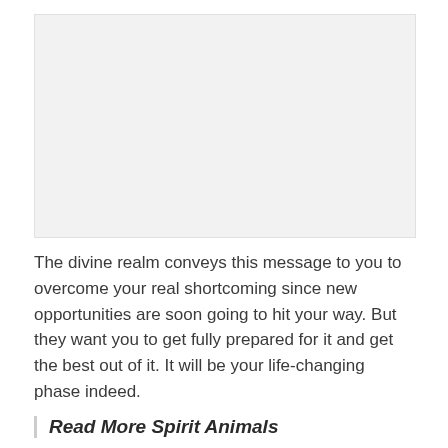[Figure (other): Light gray rectangular image placeholder area]
The divine realm conveys this message to you to overcome your real shortcoming since new opportunities are soon going to hit your way. But they want you to get fully prepared for it and get the best out of it. It will be your life-changing phase indeed.
Read More Spirit Animals